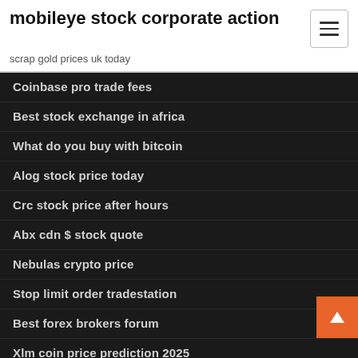mobileye stock corporate action
scrap gold prices uk today
Coinbase pro trade fees
Best stock exchange in africa
What do you buy with bitcoin
Alog stock price today
Crc stock price after hours
Abx cdn $ stock quote
Nebulas crypto price
Stop limit order tradestation
Best forex brokers forum
Xlm coin price prediction 2025